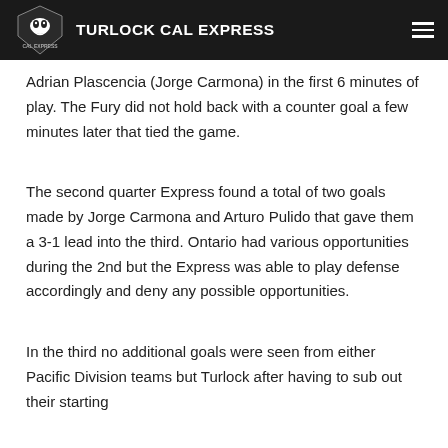TURLOCK CAL EXPRESS
Adrian Plascencia (Jorge Carmona) in the first 6 minutes of play. The Fury did not hold back with a counter goal a few minutes later that tied the game.
The second quarter Express found a total of two goals made by Jorge Carmona and Arturo Pulido that gave them a 3-1 lead into the third. Ontario had various opportunities during the 2nd but the Express was able to play defense accordingly and deny any possible opportunities.
In the third no additional goals were seen from either Pacific Division teams but Turlock after having to sub out their starting